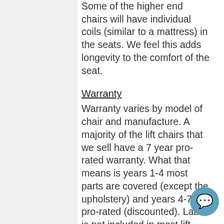Some of the higher end chairs will have individual coils (similar to a mattress) in the seats. We feel this adds longevity to the comfort of the seat.
Warranty
Warranty varies by model of chair and manufacture. A majority of the lift chairs that we sell have a 7 year pro-rated warranty. What that means is years 1-4 most parts are covered (except the upholstery) and years 4-7 are pro-rated (discounted). Labor is not included in most lift chair warranties. Our Pride lift chairs will all come with 1 year labor included. We carry the most common lift chair parts in stock